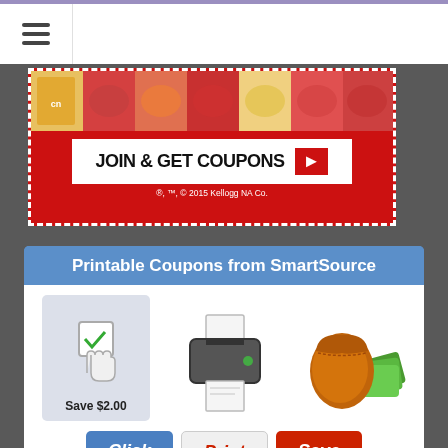[Figure (screenshot): Navigation bar with hamburger menu icon on the left]
[Figure (screenshot): Kellogg's promotional banner with food images, JOIN & GET COUPONS button, and copyright text. Red background with dashed white border.]
[Figure (infographic): SmartSource printable coupons advertisement. Shows click, print, save steps with icons (checkbox/cursor, printer, wallet). Blue header reads 'Printable Coupons from SmartSource'. Buttons labeled Click, Print, Save. Tagline: find coupons for all your favorites at SmartSource.com]